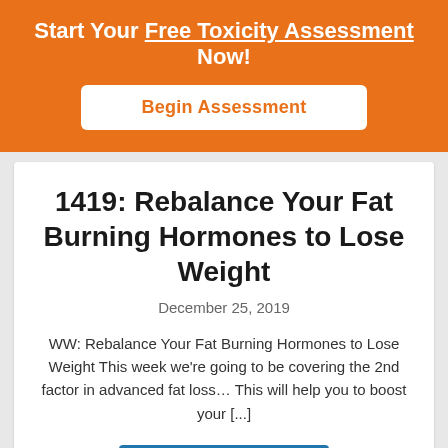Start Your Free Toxicity Assessment Now!
Begin Assessment
1419: Rebalance Your Fat Burning Hormones to Lose Weight
December 25, 2019
WW: Rebalance Your Fat Burning Hormones to Lose Weight This week we're going to be covering the 2nd factor in advanced fat loss… This will help you to boost your [...]
LISTEN NOW